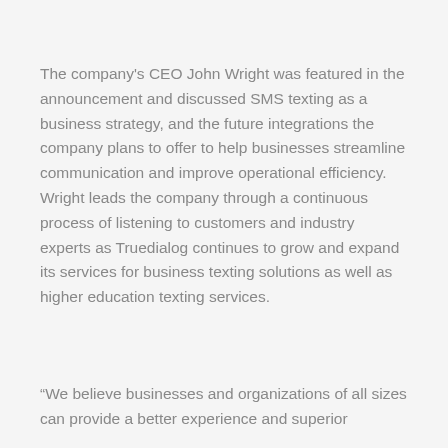The company's CEO John Wright was featured in the announcement and discussed SMS texting as a business strategy, and the future integrations the company plans to offer to help businesses streamline communication and improve operational efficiency. Wright leads the company through a continuous process of listening to customers and industry experts as Truedialog continues to grow and expand its services for business texting solutions as well as higher education texting services.
“We believe businesses and organizations of all sizes can provide a better experience and superior